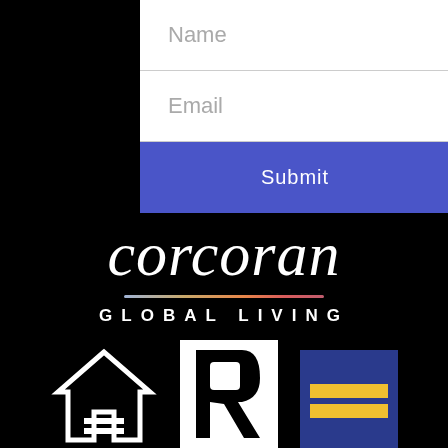[Figure (screenshot): Web form with Name and Email input fields and a blue Submit button on white background, partially visible at top right]
[Figure (logo): Corcoran Global Living logo: italic script 'corcoran' in white with rainbow gradient underline, 'GLOBAL LIVING' in white spaced capitals, on black background]
[Figure (other): Three real estate compliance icons at bottom: Equal Housing Opportunity house logo (white outline on black), Realtor R logo (black on white), Equal sign logo (yellow on blue/dark background)]